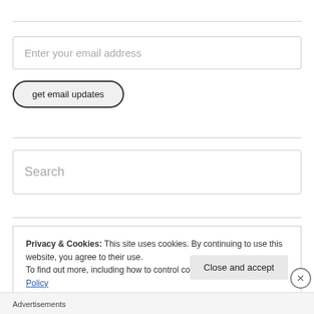Enter your email address
get email updates
Search
Privacy & Cookies: This site uses cookies. By continuing to use this website, you agree to their use.
To find out more, including how to control cookies, see here: Cookie Policy
Close and accept
Advertisements